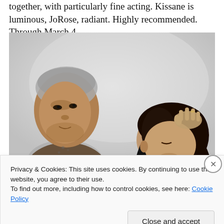together, with particularly fine acting. Kissane is luminous, JoRose, radiant. Highly recommended. Through March 4.
[Figure (photo): Black and white photo of two women. On the left, a woman with her hair up in a headscarf looks sideways with a serious expression. On the right, another woman with long dark hair has a hand resting on her head and appears to be leaning down, eyes closed.]
Privacy & Cookies: This site uses cookies. By continuing to use this website, you agree to their use.
To find out more, including how to control cookies, see here: Cookie Policy
Close and accept